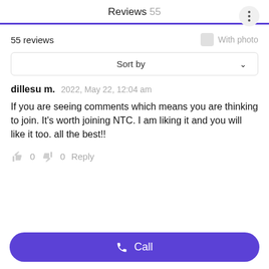Reviews 55
55 reviews
With photo
Sort by
dillesu m.   2022, May 22, 12:04 am
If you are seeing comments which means you are thinking to join. It's worth joining NTC. I am liking it and you will like it too. all the best!!
0   0   Reply
Call